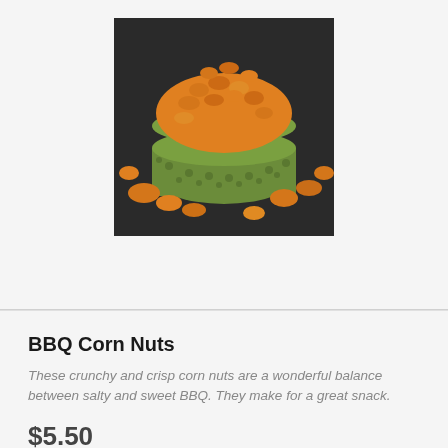[Figure (photo): A green ceramic bowl filled with orange BBQ corn nuts, with more corn nuts spilling around the bowl on a dark surface.]
BBQ Corn Nuts
These crunchy and crisp corn nuts are a wonderful balance between salty and sweet BBQ. They make for a great snack.
$5.50
[Figure (photo): Partial view of a food item on a blue background, bottom of page.]